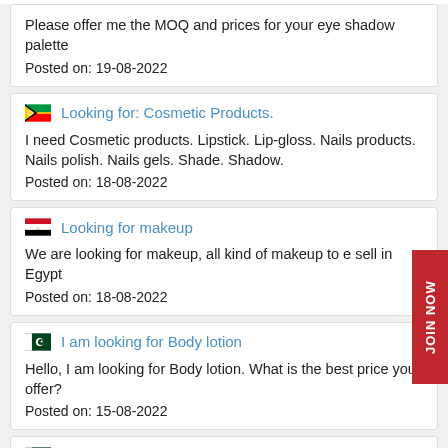Please offer me the MOQ and prices for your eye shadow palette
Posted on: 19-08-2022
Looking for: Cosmetic Products.
I need Cosmetic products. Lipstick. Lip-gloss. Nails products. Nails polish. Nails gels. Shade. Shadow.
Posted on: 18-08-2022
Looking for makeup
We are looking for makeup, all kind of makeup to e sell in Egypt
Posted on: 18-08-2022
I am looking for Body lotion
Hello, I am looking for Body lotion. What is the best price you offer?
Posted on: 15-08-2022
Looking For Cosmetics Supplier
Pls send products list for cosmetics